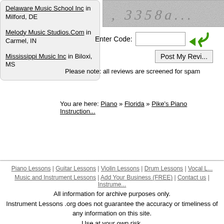Delaware Music School Inc in Milford, DE
Melody Music Studios.Com in Carmel, IN
Mississippi Music Inc in Biloxi, MS
[Figure (other): CAPTCHA image showing distorted text '3358a']
Enter Code:
Post My Revi...
Please note: all reviews are screened for spam
You are here: Piano » Florida » Pike's Piano Instruction...
Piano Lessons | Guitar Lessons | Violin Lessons | Drum Lessons | Vocal L...
Music and Instrument Lessons | Add Your Business (FREE) | Contact us | Instrume...
All information for archive purposes only.
Instrument Lessons .org does not guarantee the accuracy or timeliness of any information on this site.
Use at your own risk.